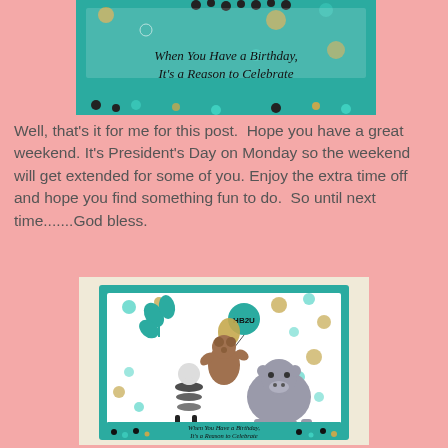[Figure (photo): Top portion of a handmade birthday card showing teal background with colorful dots and text 'When You Have a Birthday, It's a Reason to Celebrate']
Well, that's it for me for this post.  Hope you have a great weekend. It's President's Day on Monday so the weekend will get extended for some of you. Enjoy the extra time off and hope you find something fun to do.  So until next time.......God bless.
[Figure (photo): Handmade birthday card with teal border, white background with colorful dots, featuring die-cut animals: a bear holding a 'HB2U' balloon, a zebra, and a hippo, with teal leaf branch, and text at bottom 'When You Have a Birthday, It's a Reason to Celebrate']